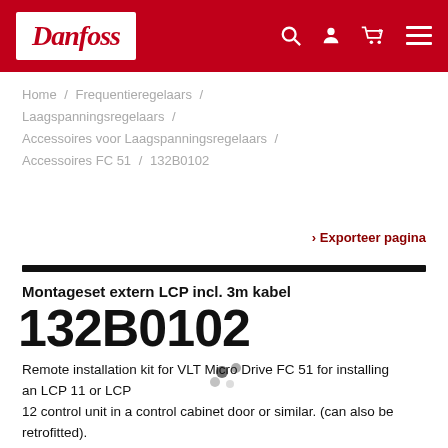Danfoss — Navigation header with logo, search, account, cart, menu
Home / Frequentieregelaars / Laagspanningsregelaars / Accessoires voor Laagspanningsregelaars / Accessoires FC 51 / 132B0102
› Exporteer pagina
Montageset extern LCP incl. 3m kabel
132B0102
Remote installation kit for VLT Micro Drive FC 51 for installing an LCP 11 or LCP 12 control unit in a control cabinet door or similar. (can also be retrofitted). Contains fastening elements, and 3m connection cable